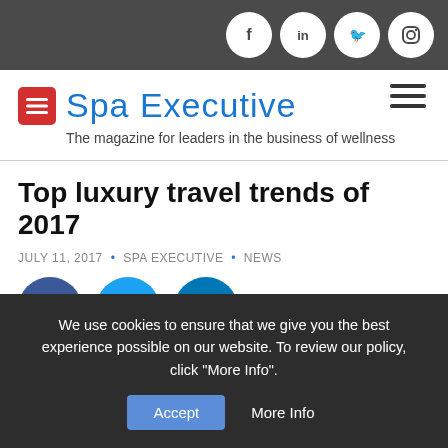Spa Executive - social icons: f, in, Twitter, Instagram
[Figure (logo): Spa Executive logo with red icon and blue text]
The magazine for leaders in the business of wellness
Top luxury travel trends of 2017
JULY 11, 2017 • SPA EXECUTIVE • NEWS
[Figure (illustration): Social share icons: Facebook, Twitter, LinkedIn circles]
[Figure (photo): Partial green foliage image]
We use cookies to ensure that we give you the best experience possible on our website. To review our policy, click "More Info".